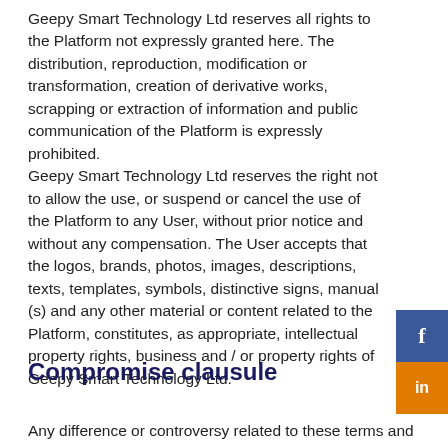Geepy Smart Technology Ltd reserves all rights to the Platform not expressly granted here. The distribution, reproduction, modification or transformation, creation of derivative works, scrapping or extraction of information and public communication of the Platform is expressly prohibited.
Geepy Smart Technology Ltd reserves the right not to allow the use, or suspend or cancel the use of the Platform to any User, without prior notice and without any compensation. The User accepts that the logos, brands, photos, images, descriptions, texts, templates, symbols, distinctive signs, manual (s) and any other material or content related to the Platform, constitutes, as appropriate, intellectual property rights, business and / or property rights of Geepy Smart Technology Ltd.
Compromise clausule
Any difference or controversy related to these terms and